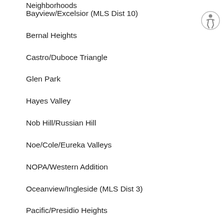Neighborhoods
Bayview/Excelsior (MLS Dist 10)
Bernal Heights
Castro/Duboce Triangle
Glen Park
Hayes Valley
Nob Hill/Russian Hill
Noe/Cole/Eureka Valleys
NOPA/Western Addition
Oceanview/Ingleside (MLS Dist 3)
Pacific/Presidio Heights
Potrero Hill